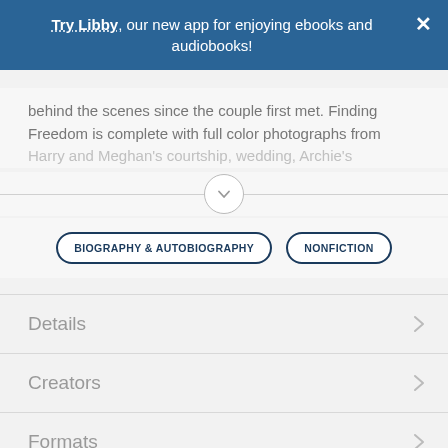Try Libby, our new app for enjoying ebooks and audiobooks! ×
behind the scenes since the couple first met. Finding Freedom is complete with full color photographs from Harry and Meghan's courtship, wedding, Archie's
[Figure (other): Expand/collapse chevron button with horizontal divider line]
BIOGRAPHY & AUTOBIOGRAPHY   NONFICTION
Details
Creators
Formats
Languages